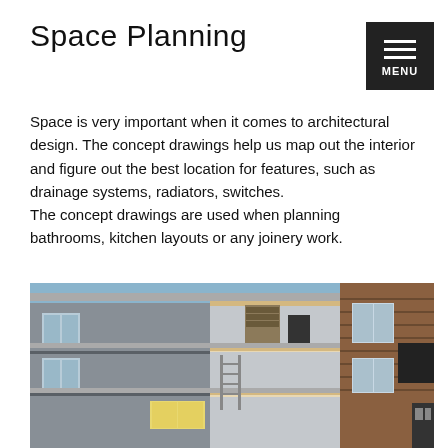Space Planning
Space is very important when it comes to architectural design. The concept drawings help us map out the interior and figure out the best location for features, such as drainage systems, radiators, switches.
The concept drawings are used when planning bathrooms, kitchen layouts or any joinery work.
[Figure (photo): 3D architectural cross-section rendering of a multi-storey house showing interior rooms, structural elements, brick facade, windows, a ladder, and exterior detailing against a blue sky background.]